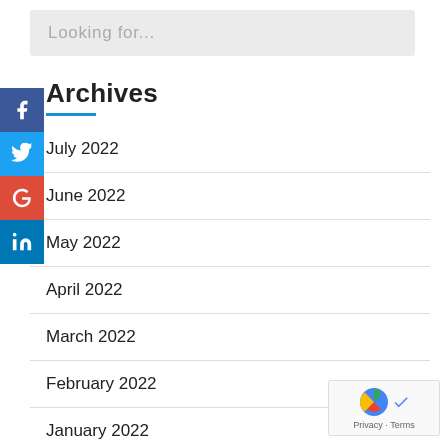Looking for...
Archives
July 2022
June 2022
May 2022
April 2022
March 2022
February 2022
January 2022
May 2021